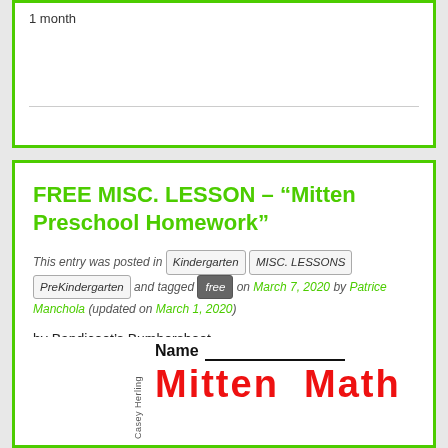1 month
FREE MISC. LESSON – “Mitten Preschool Homework”
This entry was posted in Kindergarten MISC. LESSONS PreKindergarten and tagged free on March 7, 2020 by Patrice Manchola (updated on March 1, 2020)
by Bandicoot’s Bumbershoot
Pre-Kindergarten – Kindergarten
Name
Mitten Math
Casey Herling